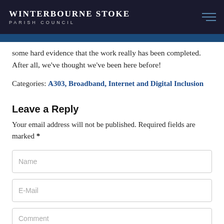Winterbourne Stoke Parish Council
some hard evidence that the work really has been completed.  After all, we've thought we've been here before!
Categories: A303, Broadband, Internet and Digital Inclusion
Leave a Reply
Your email address will not be published. Required fields are marked *